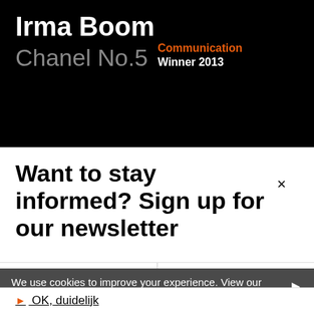Irma Boom
Chanel No.5
Communication
Winner 2013
Want to stay informed? Sign up for our newsletter
First name
Last name
We use cookies to improve your experience. View our privacy policy.
OK, duidelijk